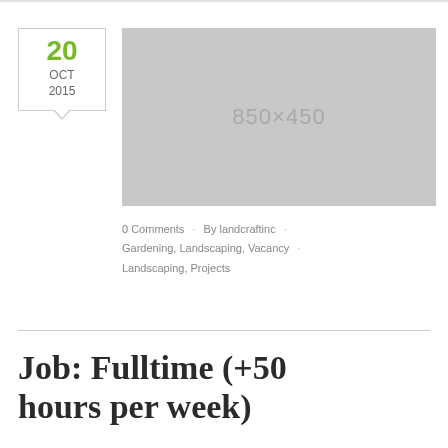20 OCT 2015
[Figure (photo): Placeholder image 850×450]
0 Comments · By landcraftinc · Gardening, Landscaping, Vacancy · Landscaping, Projects
Job: Fulltime (+50 hours per week)